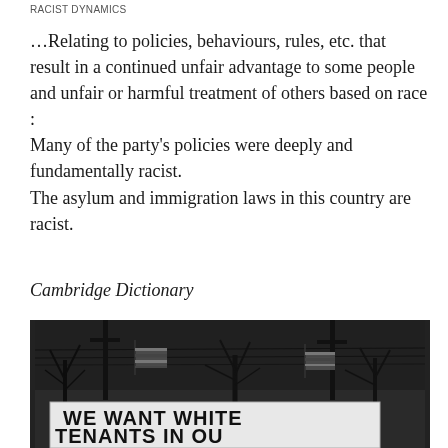RACIST DYNAMICS
…Relating to policies, behaviours, rules, etc. that result in a continued unfair advantage to some people and unfair or harmful treatment of others based on race :
Many of the party's policies were deeply and fundamentally racist.
The asylum and immigration laws in this country are racist.
Cambridge Dictionary
[Figure (photo): Black and white photograph showing a protest sign reading 'WE WANT WHITE TENANTS IN OUR' with American flags visible in the background against bare winter trees and power lines.]